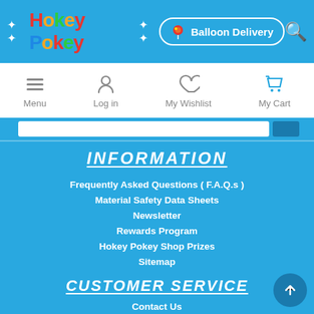Hokey Pokey — Balloon Delivery
[Figure (screenshot): Navigation bar with Menu, Log in, My Wishlist, My Cart icons]
INFORMATION
Frequently Asked Questions ( F.A.Q.s )
Material Safety Data Sheets
Newsletter
Rewards Program
Hokey Pokey Shop Prizes
Sitemap
CUSTOMER SERVICE
Contact Us
Recently viewed products
Compare products list